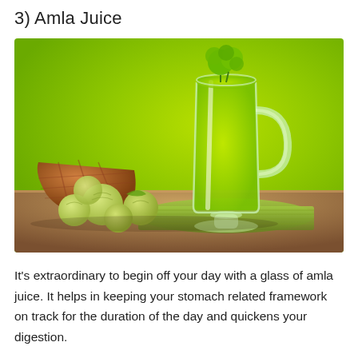3) Amla Juice
[Figure (photo): A glass mug filled with bright green amla (Indian gooseberry) juice garnished with a sprig of parsley on top, placed on a folded green cloth napkin on a wooden surface. To the left is a wicker basket tipped over with several pale green amla fruits spilling out. The background is a vivid lime green.]
It's extraordinary to begin off your day with a glass of amla juice. It helps in keeping your stomach related framework on track for the duration of the day and quickens your digestion.